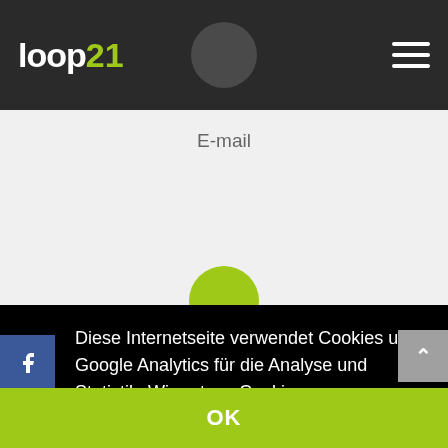[Figure (screenshot): Loop21 website navbar with logo and hamburger menu on dark background]
E-mail
Diese Internetseite verwendet Cookies und Google Analytics für die Analyse und Statistik. Wir nutzen Cookies zu unterschiedlichen Zwecken, unter anderem zur Analyse und für personalisierte Marketing-Mitteilungen. Durch die weitere Nutzung der Website stimmen Sie der Verwendung zu.  Mehr erfahren
OK